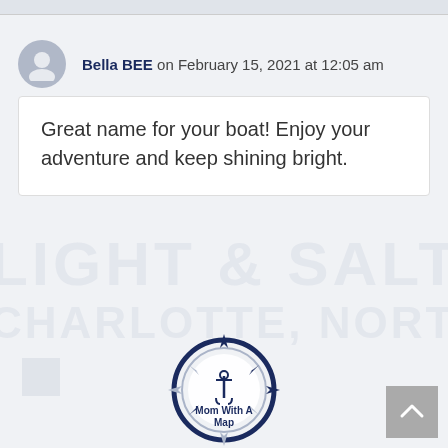Bella BEE on February 15, 2021 at 12:05 am
Great name for your boat! Enjoy your adventure and keep shining bright.
[Figure (logo): Mom With A Map compass logo — circular compass design in navy blue and grey with an anchor symbol and the text 'Mom With A Map' inside]